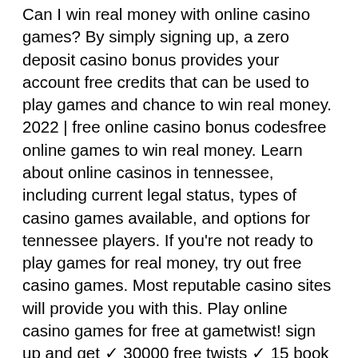Can I win real money with online casino games? By simply signing up, a zero deposit casino bonus provides your account free credits that can be used to play games and chance to win real money. 2022 | free online casino bonus codesfree online games to win real money. Learn about online casinos in tennessee, including current legal status, types of casino games available, and options for tennessee players. If you're not ready to play games for real money, try out free casino games. Most reputable casino sites will provide you with this. Play online casino games for free at gametwist! sign up and get ✓ 30000 free twists ✓ 15 book of ra free spins ✓ free daily bonus ❯❯ play for free now! Leovegas casino: best mobile casino for penny slots · ruby fortune casino: massive microgaming slot selection. Top free casino games to win real money